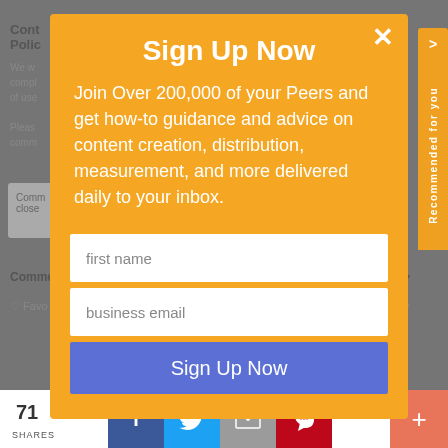[Figure (screenshot): Background webpage content partially visible behind modal overlay, showing text about comments/policy, a comments section, social share bar at bottom with 71 shares, Facebook, Twitter, email, Pinterest buttons, and a red plus button. An orange 'Recommended for you' tab is visible on the right side.]
Sign Up Now
Join Over 200,000 of your Peers and get how-to guidance and advice on content creation, distribution, measurement, and more delivered daily to your inbox.
first name
business email
Sign Up Now